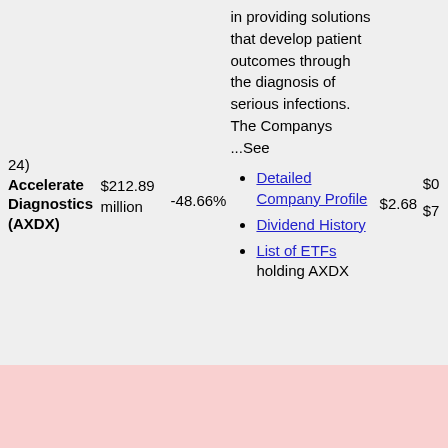24) Accelerate Diagnostics (AXDX)
$212.89 million
-48.66%
in providing solutions that develop patient outcomes through the diagnosis of serious infections. The Companys ...See
$2.68
$0
$7
Detailed Company Profile
Dividend History
List of ETFs holding AXDX